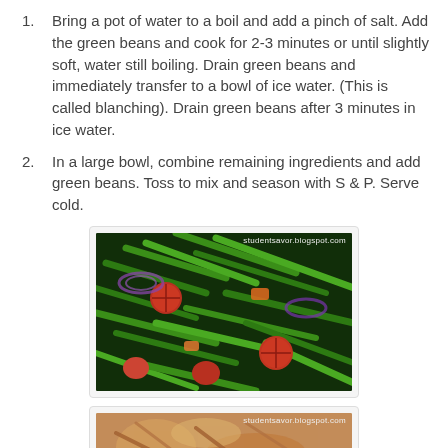Bring a pot of water to a boil and add a pinch of salt. Add the green beans and cook for 2-3 minutes or until slightly soft, water still boiling. Drain green beans and immediately transfer to a bowl of ice water. (This is called blanching). Drain green beans after 3 minutes in ice water.
In a large bowl, combine remaining ingredients and add green beans. Toss to mix and season with S & P. Serve cold.
[Figure (photo): A bowl of green bean salad with halved cherry tomatoes and red onion slices. Watermark: studentsavor.blogspot.com]
[Figure (photo): Partial view of another food dish. Watermark: studentsavor.blogspot.com]